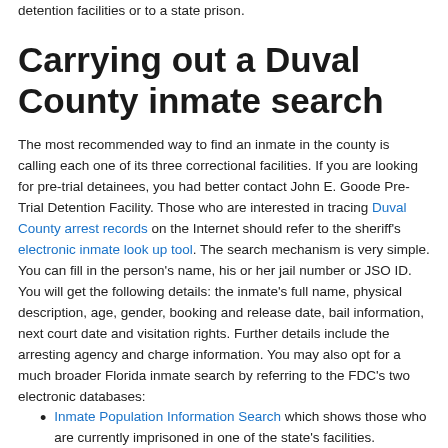detention facilities or to a state prison.
Carrying out a Duval County inmate search
The most recommended way to find an inmate in the county is calling each one of its three correctional facilities. If you are looking for pre-trial detainees, you had better contact John E. Goode Pre-Trial Detention Facility. Those who are interested in tracing Duval County arrest records on the Internet should refer to the sheriff's electronic inmate look up tool. The search mechanism is very simple. You can fill in the person's name, his or her jail number or JSO ID. You will get the following details: the inmate's full name, physical description, age, gender, booking and release date, bail information, next court date and visitation rights. Further details include the arresting agency and charge information. You may also opt for a much broader Florida inmate search by referring to the FDC's two electronic databases:
Inmate Population Information Search which shows those who are currently imprisoned in one of the state's facilities.
Offender Information Search which reveals former inmates.
The second database can be used for a criminal background check